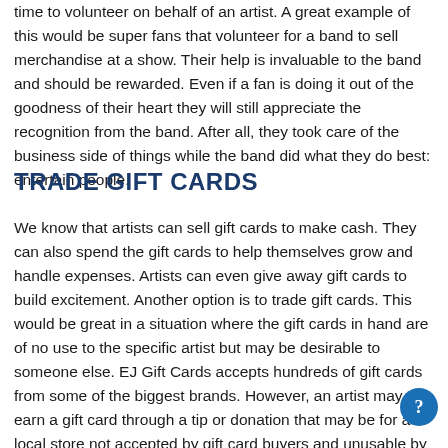time to volunteer on behalf of an artist. A great example of this would be super fans that volunteer for a band to sell merchandise at a show. Their help is invaluable to the band and should be rewarded. Even if a fan is doing it out of the goodness of their heart they will still appreciate the recognition from the band. After all, they took care of the business side of things while the band did what they do best: entertain people.
TRADE GIFT CARDS
We know that artists can sell gift cards to make cash. They can also spend the gift cards to help themselves grow and handle expenses. Artists can even give away gift cards to build excitement. Another option is to trade gift cards. This would be great in a situation where the gift cards in hand are of no use to the specific artist but may be desirable to someone else. EJ Gift Cards accepts hundreds of gift cards from some of the biggest brands. However, an artist may earn a gift card through a tip or donation that may be for a local store not accepted by gift card buyers and unusable by the artist themselves